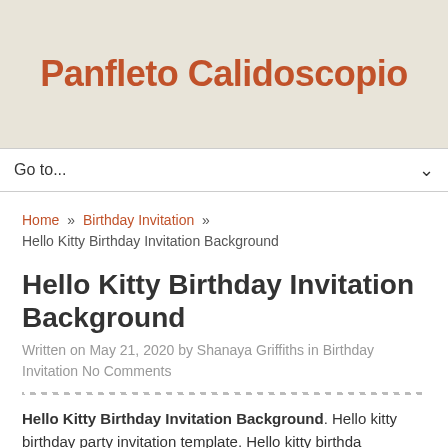Panfleto Calidoscopio
Go to...
Home » Birthday Invitation » Hello Kitty Birthday Invitation Background
Hello Kitty Birthday Invitation Background
Written on May 21, 2020 by Shanaya Griffiths in Birthday Invitation No Comments
Hello Kitty Birthday Invitation Background. Hello kitty birthday party invitation template. Hello kitty birthda...